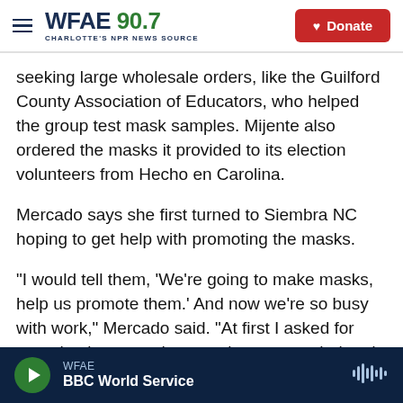WFAE 90.7 — CHARLOTTE'S NPR NEWS SOURCE | Donate
seeking large wholesale orders, like the Guilford County Association of Educators, who helped the group test mask samples. Mijente also ordered the masks it provided to its election volunteers from Hecho en Carolina.
Mercado says she first turned to Siembra NC hoping to get help with promoting the masks.
“I would tell them, ‘We’re going to make masks, help us promote them.’ And now we’re so busy with work,” Mercado said. “At first I asked for more business, and now we’re so overwhelmed with all
WFAE — BBC World Service